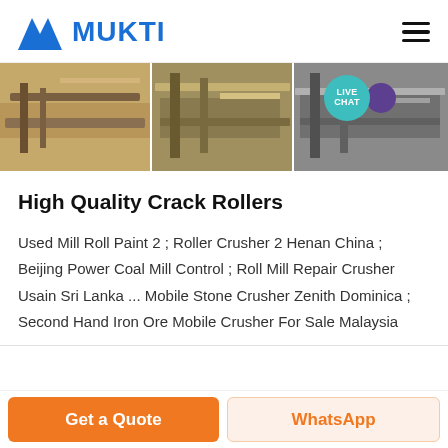MUKTI
[Figure (photo): Banner showing industrial crushing and conveyor equipment in three panels, with a Live Chat bubble overlay on the right side]
High Quality Crack Rollers
Used Mill Roll Paint 2 ; Roller Crusher 2 Henan China ; Beijing Power Coal Mill Control ; Roll Mill Repair Crusher Usain Sri Lanka ... Mobile Stone Crusher Zenith Dominica ; Second Hand Iron Ore Mobile Crusher For Sale Malaysia
Get a Quote  WhatsApp